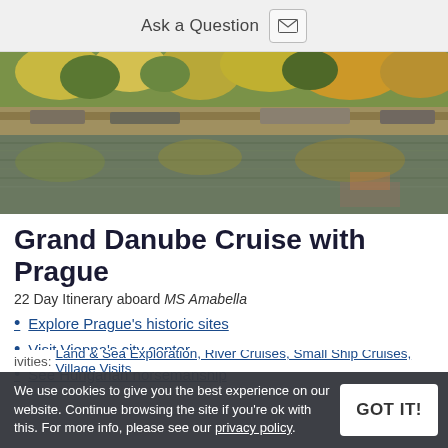Ask a Question
[Figure (photo): Aerial/riverside photo showing river with boats moored along a bank, autumn trees with yellow and orange foliage reflected in the calm water.]
Grand Danube Cruise with Prague
22 Day Itinerary aboard MS Amabella
Explore Prague's historic sites
Visit Vienna's city center
See Hungarian horsemanship
We use cookies to give you the best experience on our website. Continue browsing the site if you're ok with this. For more info, please see our privacy policy.
ivities:    Land & Sea Exploration, River Cruises, Small Ship Cruises, Village Visits